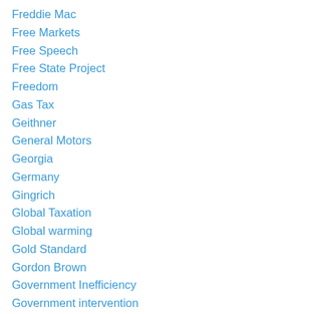Freddie Mac
Free Markets
Free Speech
Free State Project
Freedom
Gas Tax
Geithner
General Motors
Georgia
Germany
Gingrich
Global Taxation
Global warming
Gold Standard
Gordon Brown
Government Inefficiency
Government intervention
Government Spending
Government stupidity
Government Thuggery